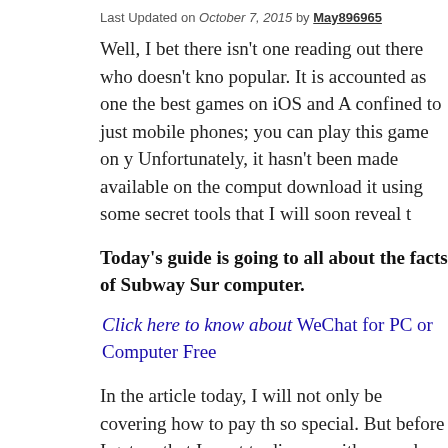Last Updated on October 7, 2015 by May896965
Well, I bet there isn't one reading out there who doesn't kno popular. It is accounted as one the best games on iOS and A confined to just mobile phones; you can play this game on y Unfortunately, it hasn't been made available on the comput download it using some secret tools that I will soon reveal t
Today's guide is going to all about the facts of Subway Sur computer.
Click here to know about WeChat for PC or Computer Free
In the article today, I will not only be covering how to pay th so special. But before I get on that I want to discuss with yo makes it so Awesome. The complete tutorial on how to dow you in my next article.  Read here to know that..